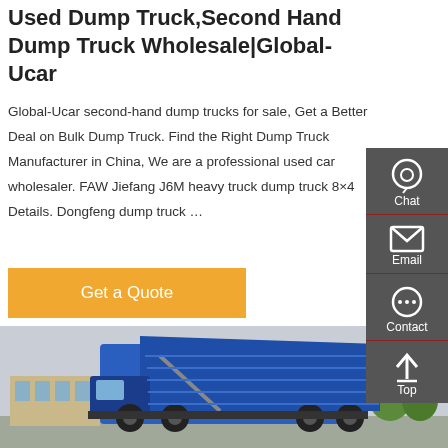Used Dump Truck,Second Hand Dump Truck Wholesale|Global-Ucar
Global-Ucar second-hand dump trucks for sale, Get a Better Deal on Bulk Dump Truck. Find the Right Dump Truck Manufacturer in China, We are a professional used car wholesaler. FAW Jiefang J6M heavy truck dump truck 8×4 Details. Dongfeng dump truck …
Get a Quote
[Figure (photo): Blue dump truck with raised dump bed, photographed outdoors with buildings and trees in the background.]